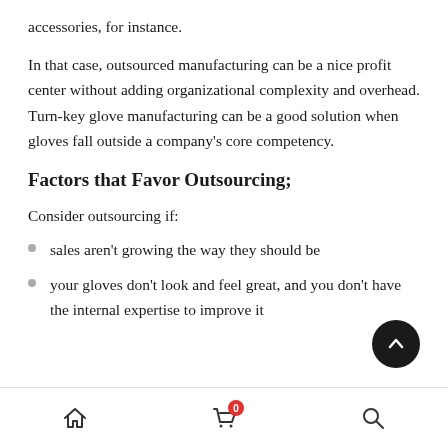accessories, for instance.
In that case, outsourced manufacturing can be a nice profit center without adding organizational complexity and overhead. Turn-key glove manufacturing can be a good solution when gloves fall outside a company’s core competency.
Factors that Favor Outsourcing;
Consider outsourcing if:
sales aren’t growing the way they should be
your gloves don’t look and feel great, and you don’t have the internal expertise to improve it
Home | Cart (0) | Search